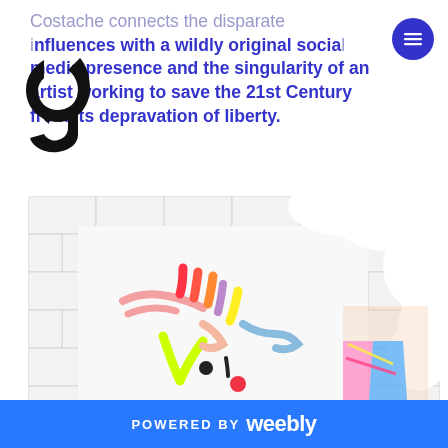Costache connects the disparate influences with a wildly original social media presence and the singularity of an artist working to save the 21st Century from its depravation of liberty.
[Figure (photo): An artist standing next to a large white canvas with colorful abstract face doodles painted on it. The person has white cloud-like sculptural hair or headpiece. Tiled white brick wall in background.]
POWERED BY weebly